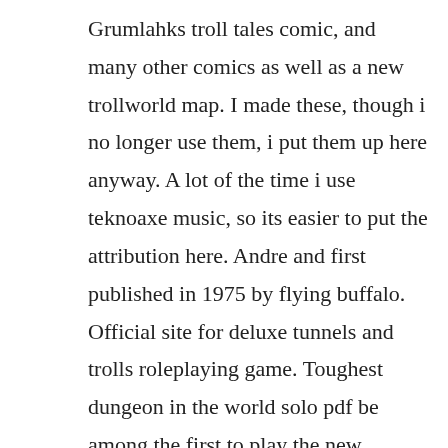Grumlahks troll tales comic, and many other comics as well as a new trollworld map. I made these, though i no longer use them, i put them up here anyway. A lot of the time i use teknoaxe music, so its easier to put the attribution here. Andre and first published in 1975 by flying buffalo. Official site for deluxe tunnels and trolls roleplaying game. Toughest dungeon in the world solo pdf be among the first to play the new edition of ken st andres toughest dungeon in the world, the solo adventure specifically written for monsters. A